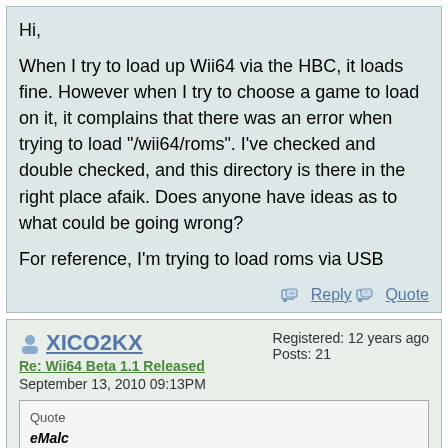Hi,

When I try to load up Wii64 via the HBC, it loads fine. However when I try to choose a game to load on it, it complains that there was an error when trying to load "/wii64/roms". I've checked and double checked, and this directory is there in the right place afaik. Does anyone have ideas as to what could be going wrong?

For reference, I'm trying to load roms via USB
Reply  Quote
XICO2KX
Re: Wii64 Beta 1.1 Released
September 13, 2010 09:13PM
Registered: 12 years ago
Posts: 21
Quote
eMalc
Hi,

When I try to load up Wii64 via the HBC, it loads fine. However when I try to choose a game to load on it, it complains that there was an error when trying to load